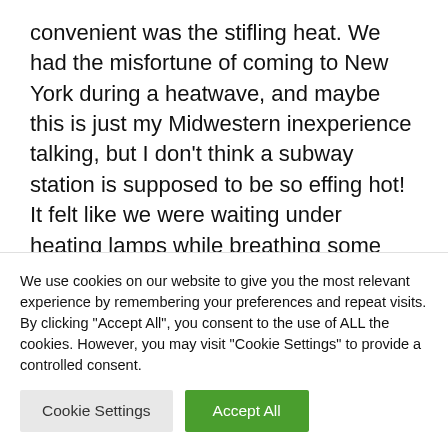convenient was the stifling heat. We had the misfortune of coming to New York during a heatwave, and maybe this is just my Midwestern inexperience talking, but I don't think a subway station is supposed to be so effing hot! It felt like we were waiting under heating lamps while breathing some truly vintage air. Yuck.
Thankfully, that is my one and only complaint about the trip. Everything else was great, and even
We use cookies on our website to give you the most relevant experience by remembering your preferences and repeat visits. By clicking "Accept All", you consent to the use of ALL the cookies. However, you may visit "Cookie Settings" to provide a controlled consent.